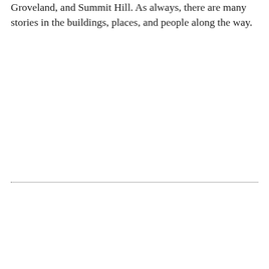Groveland, and Summit Hill. As always, there are many stories in the buildings, places, and people along the way.